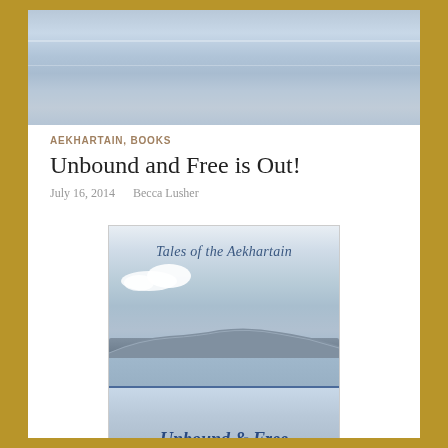[Figure (photo): Hero banner image showing a calm blue-grey ocean or sea with hazy horizon, light sky above, horizontal banding suggesting distant water and sky.]
AEKHARTAIN, BOOKS
Unbound and Free is Out!
July 16, 2014   Becca Lusher
[Figure (photo): Book cover image for 'Tales of the Aekhartain' series. Top portion shows cloudy sky and an island or headland in blue-grey sea. Text 'Tales of the Aekhartain' in italic blue font. Bottom portion partially visible showing 'Unbound & Free' in decorative blue font.]